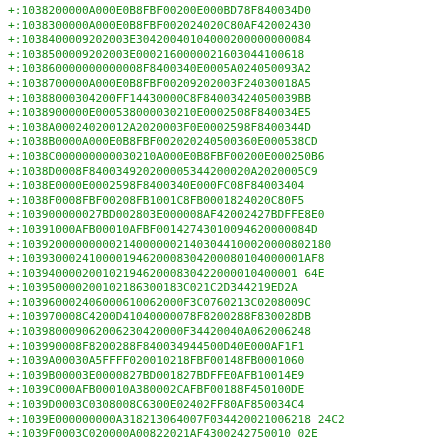+:1038200000A000E0B8FBF00200E000BD78F840034D0
+:1038300000A000E0B8FBF002024020C80AF42002430
+:1038400009202003E30420040104000200000000084
+:1038500009202003E0002160000021603044100618
+:103860000000000008F8400340E0005A024050093A2
+:1038700000A000E0B8FBF00209202003F24030018A5
+:10388000304200FF14430000C8F84003424050039BB
+:1038900000E000538000030210E0002508F840034E5
+:1038A00024020012A2020003F0E0002598F8400344D
+:1038B0000A000E0B8FBF002020240500360E000538CD
+:1038C000000000030210A000E0B8FBF00200E000250B6
+:1038D0008F840034920200005344200020A2020005C9
+:1038E0000E0002598F8400340E000FC08F84003404
+:1038F0008FBF00208FB1001C8FB0001824020C80F5
+:103900000027BD002803E000008AF42002427BDFFE8E0
+:10391000AFB00010AFBF001427430100946200084D
+:103920000000021400000021403044100020000802180
+:10393000241000019462000830420008010400001AF8
+:103940000200102194620008304220000104000164E
+:103950000200102186300183C021C2D344219ED2A
+:10396000024060006100620000F3C0760213C0208009C
+:103970008C4200D41040000078F8200288F830028DB
+:10398000906200623042000F34420040A062006248
+:103990008F8200288F840034944500D40E000AF1F1
+:1039A00030A5FFFF020010218FBF00148FB0001060
+:1039B00003E0000827BD001827BDFFE0AFB10014E9
+:1039C000AFB00010A380002CAFBF00188F450100DE
+:1039D0003C0308008C6300E02402FF80AF850034C4
+:1039E000000000A3182130640007F034420021006218242
+:1039F0003C020000A00822021AF430024275001002E